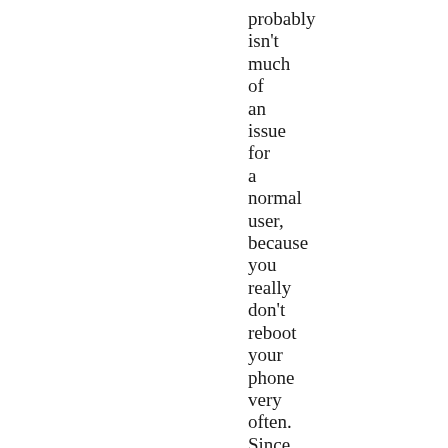probably isn't much of an issue for a normal user, because you really don't reboot your phone very often. Since I've been doing weird, hacker-